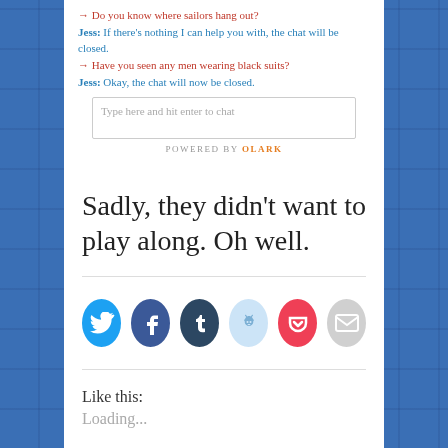[Figure (screenshot): Chat widget screenshot showing conversation: arrow line 'Do you know where sailors hang out?', Jess reply 'If there's nothing I can help you with, the chat will be closed.', arrow line 'Have you seen any men wearing black suits?', Jess reply 'Okay, the chat will now be closed.' with text input box and Powered by Olark footer.]
Sadly, they didn't want to play along. Oh well.
[Figure (infographic): Social share icons row: Twitter (blue), Facebook (dark blue), Tumblr (dark navy), Reddit (light blue), Pocket (red), Email (gray)]
Like this:
Loading...